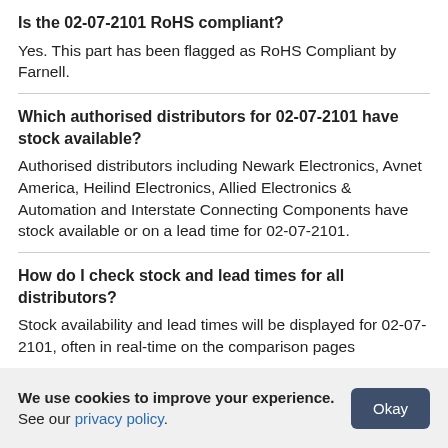Is the 02-07-2101 RoHS compliant?
Yes. This part has been flagged as RoHS Compliant by Farnell.
Which authorised distributors for 02-07-2101 have stock available?
Authorised distributors including Newark Electronics, Avnet America, Heilind Electronics, Allied Electronics & Automation and Interstate Connecting Components have stock available or on a lead time for 02-07-2101.
How do I check stock and lead times for all distributors?
Stock availability and lead times will be displayed for 02-07-2101, often in real-time on the comparison pages
We use cookies to improve your experience. See our privacy policy.